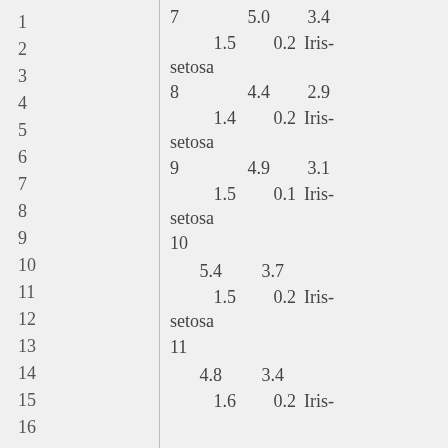| index | sepal_length | sepal_width | petal_length | petal_width | species |
| --- | --- | --- | --- | --- | --- |
| 7 | 5.0 | 3.4 | 1.5 | 0.2 | Iris-setosa |
| 8 | 4.4 | 2.9 | 1.4 | 0.2 | Iris-setosa |
| 9 | 4.9 | 3.1 | 1.5 | 0.1 | Iris-setosa |
| 10 | 5.4 | 3.7 | 1.5 | 0.2 | Iris-setosa |
| 11 | 4.8 | 3.4 | 1.6 | 0.2 | Iris-setosa |